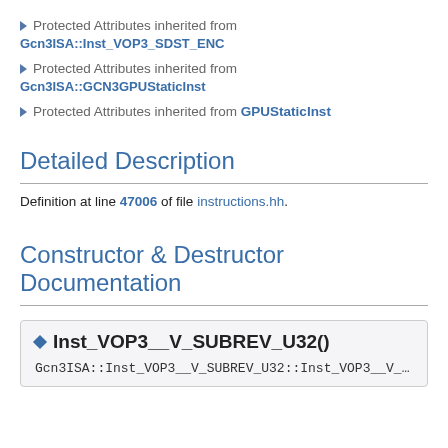Protected Attributes inherited from Gcn3ISA::Inst_VOP3_SDST_ENC
Protected Attributes inherited from Gcn3ISA::GCN3GPUStaticInst
Protected Attributes inherited from GPUStaticInst
Detailed Description
Definition at line 47006 of file instructions.hh.
Constructor & Destructor Documentation
Inst_VOP3__V_SUBREV_U32()
Gcn3ISA::Inst_VOP3__V_SUBREV_U32::Inst_VOP3__V_SUBREV_